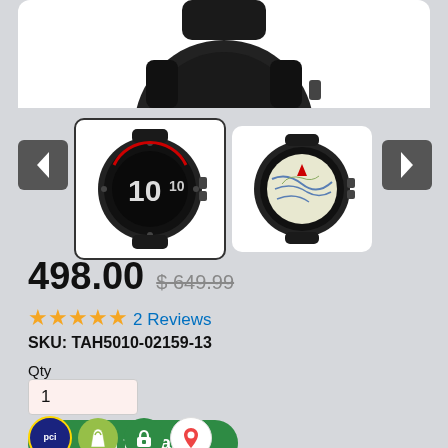[Figure (photo): Top portion of a Garmin Fenix 6S Pro smartwatch product image on white background]
[Figure (photo): Thumbnail of Garmin Fenix 6S Pro with dark watch face showing number 10, selected state with border]
[Figure (photo): Thumbnail of Garmin Fenix 6S Pro showing map/navigation screen]
498.00  $ 649.99
★★★★★ 2 Reviews
SKU: TAH5010-02159-13
Qty
1
Add to Cart
[Figure (other): Bottom bar with PCI, Shopify, green lock, and Google Maps icons]